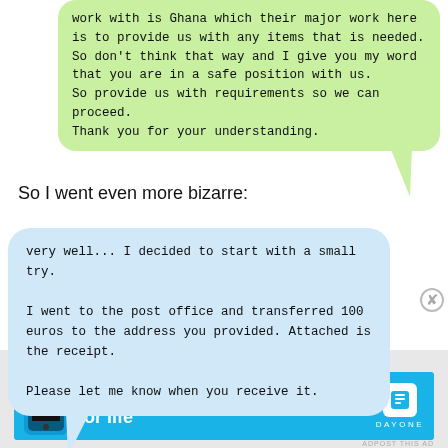[Figure (screenshot): Green chat bubble (right-aligned) with text: 'work with is Ghana which their major work here is to provide us with any items that is needed. So don't think that way and I give you my word that you are in a safe position with us. So provide us with requirements so we can proceed. Thank you for your understanding.']
So I went even more bizarre:
[Figure (screenshot): Blue chat bubble (left-aligned) with text: 'very well... I decided to start with a small try.

I went to the post office and transferred 100 euros to the address you provided. Attached is the receipt.

Please let me know when you receive it.']
[Figure (screenshot): Advertisement banner at bottom: 'Advertisements' label above a blue banner reading 'Your Journal for life' with Day One app logo.]